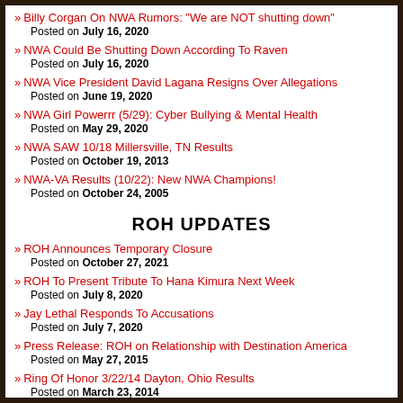Billy Corgan On NWA Rumors: "We are NOT shutting down" — Posted on July 16, 2020
NWA Could Be Shutting Down According To Raven — Posted on July 16, 2020
NWA Vice President David Lagana Resigns Over Allegations — Posted on June 19, 2020
NWA Girl Powerrr (5/29): Cyber Bullying & Mental Health — Posted on May 29, 2020
NWA SAW 10/18 Millersville, TN Results — Posted on October 19, 2013
NWA-VA Results (10/22): New NWA Champions! — Posted on October 24, 2005
ROH UPDATES
ROH Announces Temporary Closure — Posted on October 27, 2021
ROH To Present Tribute To Hana Kimura Next Week — Posted on July 8, 2020
Jay Lethal Responds To Accusations — Posted on July 7, 2020
Press Release: ROH on Relationship with Destination America — Posted on May 27, 2015
Ring Of Honor 3/22/14 Dayton, Ohio Results — Posted on March 23, 2014